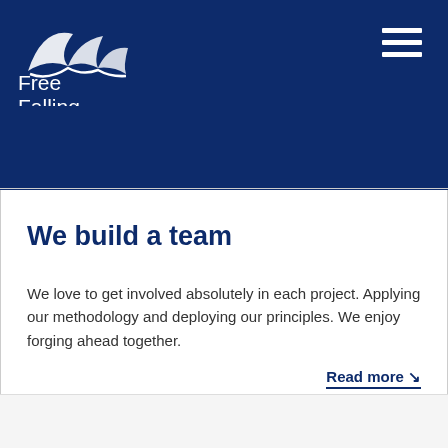[Figure (logo): Free Falling logo with bird/wing icon and text 'Free Falling' in white on dark navy background header with hamburger menu icon]
We build a team
We love to get involved absolutely in each project. Applying our methodology and deploying our principles. We enjoy forging ahead together.
Read more ↘